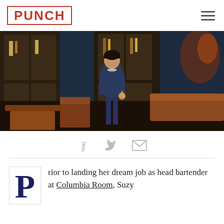PUNCH
[Figure (photo): Woman standing in a bar/restaurant setting with dark wood cabinetry and bottle displays behind her. She is wearing a navy lace top and holding a cocktail glass. Leather seating and wooden tables visible in the foreground.]
[Figure (infographic): Social sharing icons: Facebook, Twitter, Email]
rior to landing her dream job as head bartender at Columbia Room, Suzy